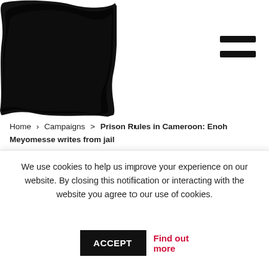[Figure (logo): Black ink/paint blob logo in upper left corner]
Home > Campaigns > Prison Rules in Cameroon: Enoh Meyomesse writes from jail
Prison Rules in Cameroon: Enoh Meyomesse writes from jail
We use cookies to help us improve your experience on our website. By closing this notification or interacting with the website you agree to our use of cookies. ACCEPT Find out more